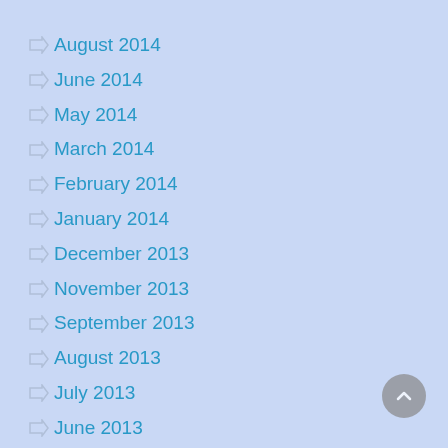August 2014
June 2014
May 2014
March 2014
February 2014
January 2014
December 2013
November 2013
September 2013
August 2013
July 2013
June 2013
May 2013